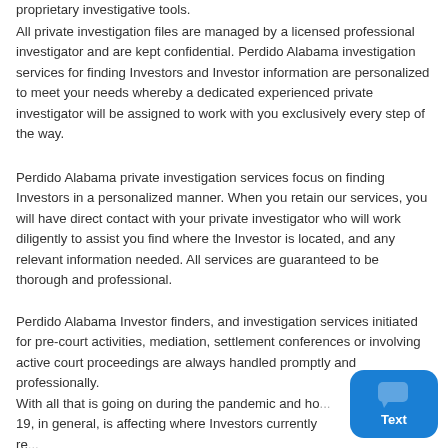proprietary investigative tools.
All private investigation files are managed by a licensed professional investigator and are kept confidential. Perdido Alabama investigation services for finding Investors and Investor information are personalized to meet your needs whereby a dedicated experienced private investigator will be assigned to work with you exclusively every step of the way.
Perdido Alabama private investigation services focus on finding Investors in a personalized manner. When you retain our services, you will have direct contact with your private investigator who will work diligently to assist you find where the Investor is located, and any relevant information needed. All services are guaranteed to be thorough and professional.
Perdido Alabama Investor finders, and investigation services initiated for pre-court activities, mediation, settlement conferences or involving active court proceedings are always handled promptly and professionally.
With all that is going on during the pandemic and ho... 19, in general, is affecting where Investors currently re... may have moved to, we must be diligent in our efforts, astute